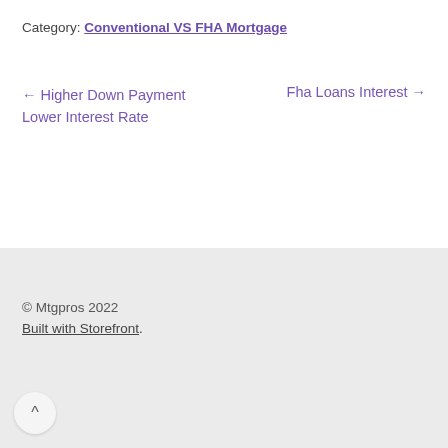Category: Conventional VS FHA Mortgage
← Higher Down Payment Lower Interest Rate
Fha Loans Interest →
© Mtgpros 2022
Built with Storefront.